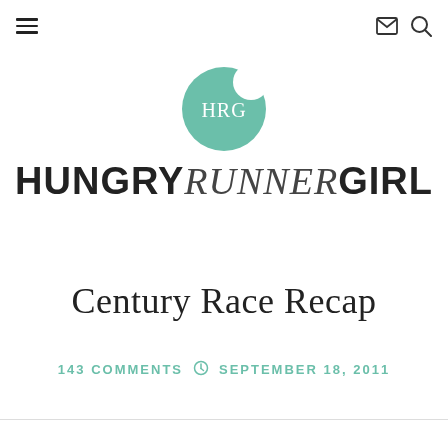HUNGRY RUNNER GIRL — navigation header with hamburger menu, mail icon, and search icon
[Figure (logo): HRG logo: mint green circle with a bite taken out of the top right, white text 'HRG' in the center]
HUNGRY RUNNER GIRL
Century Race Recap
143 COMMENTS  ⊙  SEPTEMBER 18, 2011